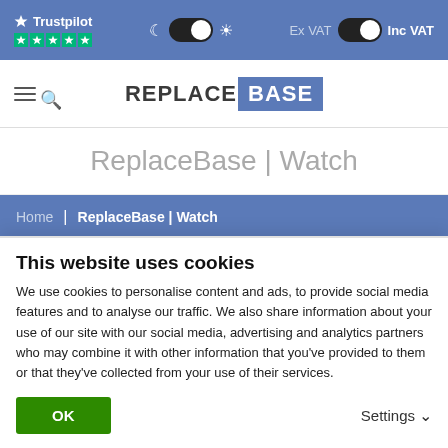Trustpilot ★★★★★ | Dark/Light toggle | Ex VAT / Inc VAT toggle
[Figure (logo): ReplaceBase logo with REPLACE in dark text and BASE in white on blue background]
ReplaceBase | Watch
Home | ReplaceBase | Watch
This website uses cookies
We use cookies to personalise content and ads, to provide social media features and to analyse our traffic. We also share information about your use of our site with our social media, advertising and analytics partners who may combine it with other information that you've provided to them or that they've collected from your use of their services.
OK
Settings